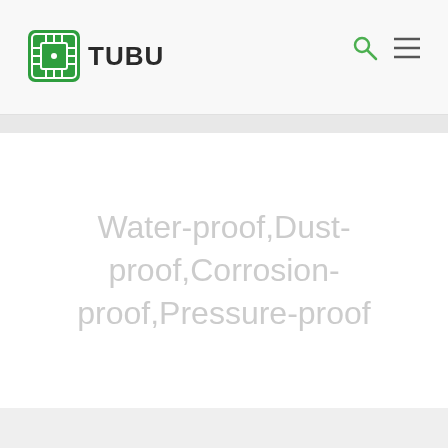[Figure (logo): TUBU logo with green circuit-board icon and bold TUBU text]
Water-proof,Dust-proof,Corrosion-proof,Pressure-proof